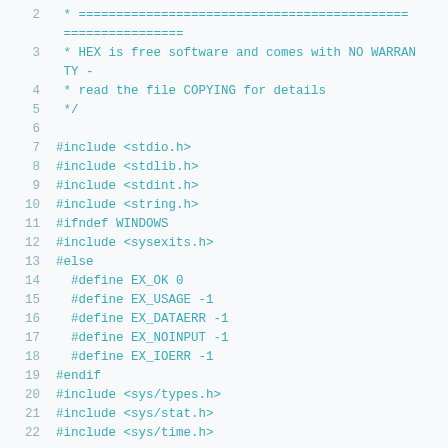Source code listing lines 2-21 showing C header file includes and preprocessor directives